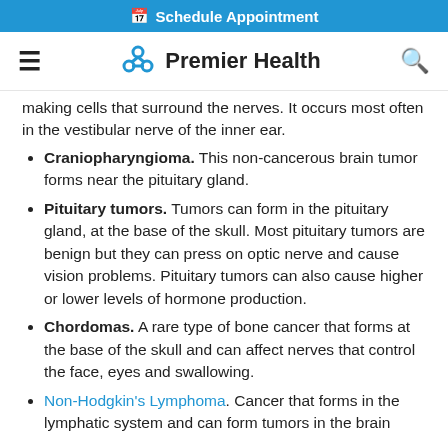Schedule Appointment
Premier Health
making cells that surround the nerves. It occurs most often in the vestibular nerve of the inner ear.
Craniopharyngioma. This non-cancerous brain tumor forms near the pituitary gland.
Pituitary tumors. Tumors can form in the pituitary gland, at the base of the skull. Most pituitary tumors are benign but they can press on optic nerve and cause vision problems. Pituitary tumors can also cause higher or lower levels of hormone production.
Chordomas. A rare type of bone cancer that forms at the base of the skull and can affect nerves that control the face, eyes and swallowing.
Non-Hodgkin's Lymphoma. Cancer that forms in the lymphatic system and can form tumors in the brain